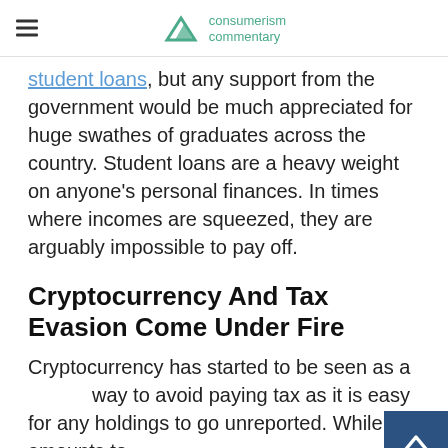consumerism commentary
student loans, but any support from the government would be much appreciated for huge swathes of graduates across the country. Student loans are a heavy weight on anyone's personal finances. In times where incomes are squeezed, they are arguably impossible to pay off.
Cryptocurrency And Tax Evasion Come Under Fire
Cryptocurrency has started to be seen as a way to avoid paying tax as it is easy for any holdings to go unreported. While this amounts to